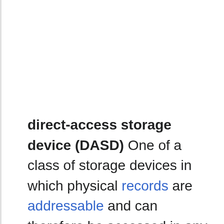direct-access storage device (DASD) One of a class of storage devices in which physical records are addressable and can therefore be accessed in any order: a sequential search is not required. For all practical purposes direct-access storage is synonymous with disk storage.